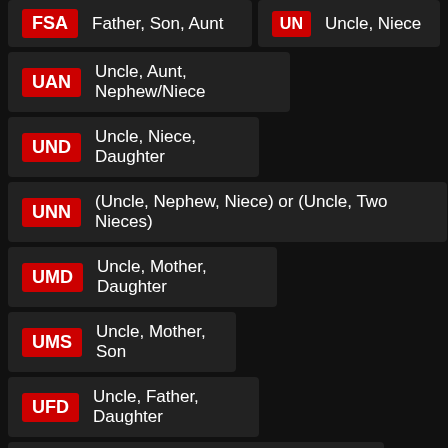FSA Father, Son, Aunt
UN Uncle, Niece
UAN Uncle, Aunt, Nephew/Niece
UND Uncle, Niece, Daughter
UNN (Uncle, Nephew, Niece) or (Uncle, Two Nieces)
UMD Uncle, Mother, Daughter
UMS Uncle, Mother, Son
UFD Uncle, Father, Daughter
Full Family Father, Mother, Daughter, Son
GMGS Grandmother, Grandson
GMGD Grandmother, Granddaughter
GMMS Grandmother, Mother, Son